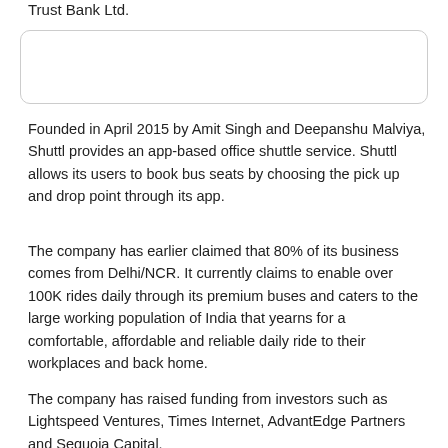Trust Bank Ltd.
[Figure (other): Empty rounded rectangle box placeholder]
Founded in April 2015 by Amit Singh and Deepanshu Malviya, Shuttl provides an app-based office shuttle service. Shuttl allows its users to book bus seats by choosing the pick up and drop point through its app.
The company has earlier claimed that 80% of its business comes from Delhi/NCR. It currently claims to enable over 100K rides daily through its premium buses and caters to the large working population of India that yearns for a comfortable, affordable and reliable daily ride to their workplaces and back home.
The company has raised funding from investors such as Lightspeed Ventures, Times Internet, AdvantEdge Partners and Sequoia Capital.